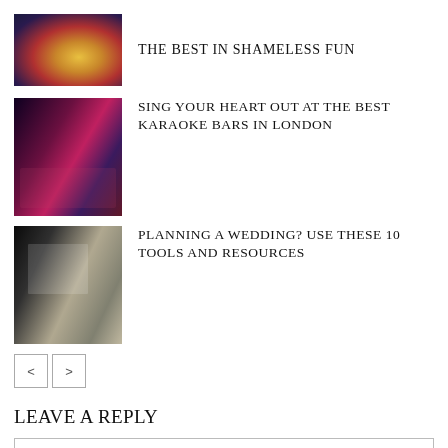[Figure (photo): Colorful karaoke/entertainment venue with bright lights and disco ball]
THE BEST IN SHAMELESS FUN
[Figure (photo): Group of friends at a karaoke bar with colorful lighting]
SING YOUR HEART OUT AT THE BEST KARAOKE BARS IN LONDON
[Figure (photo): People planning a wedding, looking at materials on a table]
PLANNING A WEDDING? USE THESE 10 TOOLS AND RESOURCES
< >
LEAVE A REPLY
Comment: